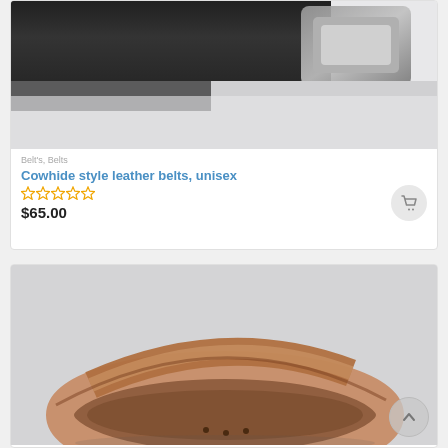[Figure (photo): Top portion of a black leather belt with a metal buckle on a white/light gray background]
Belt's, Belts
Cowhide style leather belts, unisex
★★★★★ (empty stars rating)
$65.00
[Figure (photo): Brown leather belt coiled/curled on a light gray background, showing punch holes]